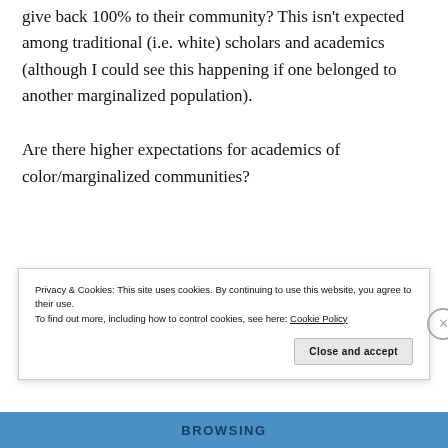give back 100% to their community? This isn't expected among traditional (i.e. white) scholars and academics (although I could see this happening if one belonged to another marginalized population).
Are there higher expectations for academics of color/marginalized communities?
Privacy & Cookies: This site uses cookies. By continuing to use this website, you agree to their use.
To find out more, including how to control cookies, see here: Cookie Policy
Close and accept
BROWSING